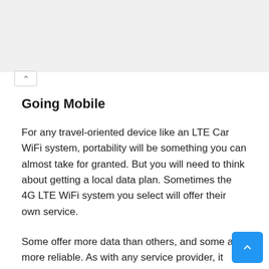Going Mobile
For any travel-oriented device like an LTE Car WiFi system, portability will be something you can almost take for granted. But you will need to think about getting a local data plan. Sometimes the 4G LTE WiFi system you select will offer their own service.
Some offer more data than others, and some are more reliable. As with any service provider, it helps